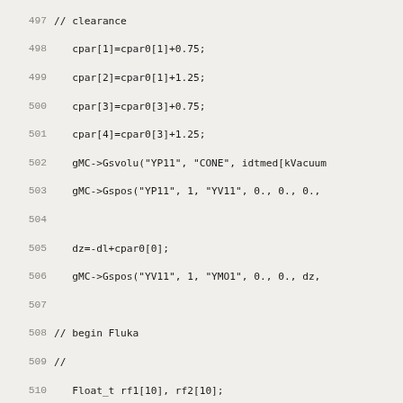[Figure (screenshot): Source code listing in C++ style, lines 497-529, showing particle physics simulation geometry code with array assignments, gMC calls, Float_t declarations, and flukaGeom calls.]